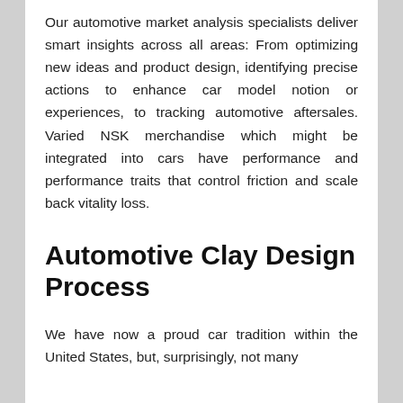Our automotive market analysis specialists deliver smart insights across all areas: From optimizing new ideas and product design, identifying precise actions to enhance car model notion or experiences, to tracking automotive aftersales. Varied NSK merchandise which might be integrated into cars have performance and performance traits that control friction and scale back vitality loss.
Automotive Clay Design Process
We have now a proud car tradition within the United States, but, surprisingly, not many...